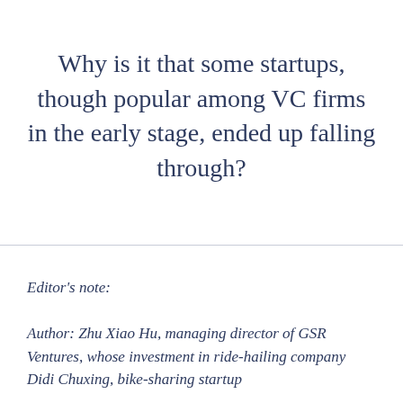Why is it that some startups, though popular among VC firms in the early stage, ended up falling through?
Editor's note:
Author: Zhu Xiao Hu, managing director of GSR Ventures, whose investment in ride-hailing company Didi Chuxing, bike-sharing startup